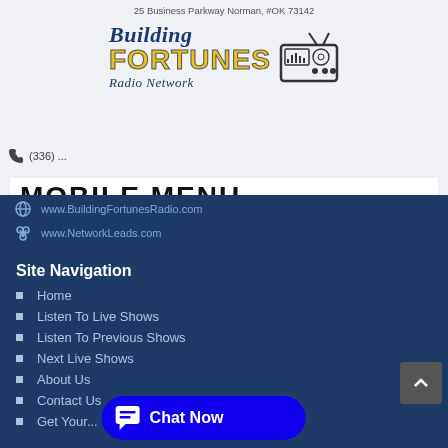25 Business Parkway Norman, #OK 73142
[Figure (logo): Building Fortunes Radio Network logo with radio icon]
(336) ... phone number
MOBILE MENU
www.BuildingFortunesRadio.com
www.NetworkLeads.com
Site Navigation
Home
Listen To Live Shows
Listen To Previous Shows
Next Live Shows
About Us
Contact Us
Get Your...